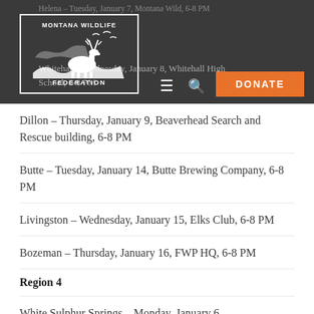Helena – Tuesday, January 7, Montana Wild, 6-8 PM
[Figure (logo): Montana Wildlife Federation logo with elk and birds silhouette, bordered box with text MONTANA WILDLIFE FEDERATION]
Whitehall – Wednesday, January 8, Whitehall High School, 6-8 PM
Dillon – Thursday, January 9, Beaverhead Search and Rescue building, 6-8 PM
Butte – Tuesday, January 14, Butte Brewing Company, 6-8 PM
Livingston – Wednesday, January 15, Elks Club, 6-8 PM
Bozeman – Thursday, January 16, FWP HQ, 6-8 PM
Region 4
White Sulphur Springs – Monday, January 6,